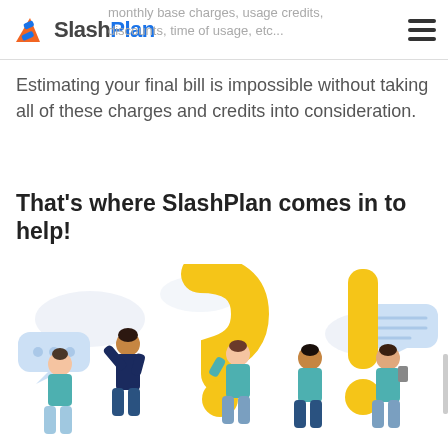SlashPlan — monthly base charges, usage credits, discounts, time of usage, etc...
Estimating your final bill is impossible without taking all of these charges and credits into consideration.
That's where SlashPlan comes in to help!
[Figure (illustration): Cartoon illustration of several people standing around large yellow question mark and exclamation mark symbols, with speech bubbles, on a white background]